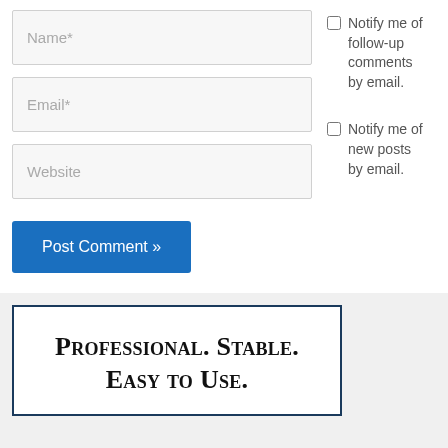[Figure (screenshot): Web form with Name*, Email*, Website input fields and Notify me checkboxes on the right]
Notify me of follow-up comments by email.
Notify me of new posts by email.
Post Comment »
Professional. Stable. Easy to Use.